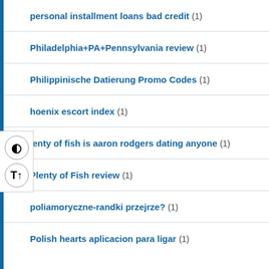personal installment loans bad credit (1)
Philadelphia+PA+Pennsylvania review (1)
Philippinische Datierung Promo Codes (1)
hoenix escort index (1)
lenty of fish is aaron rodgers dating anyone (1)
Plenty of Fish review (1)
poliamoryczne-randki przejrze? (1)
Polish hearts aplicacion para ligar (1)